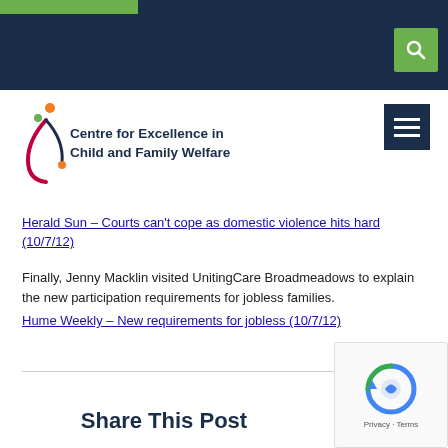Centre for Excellence in Child and Family Welfare
Herald Sun – Courts can't cope as domestic violence hits hard (10/7/12)
Finally, Jenny Macklin visited UnitingCare Broadmeadows to explain the new participation requirements for jobless families.
Hume Weekly – New requirements for jobless (10/7/12)
Share This Post